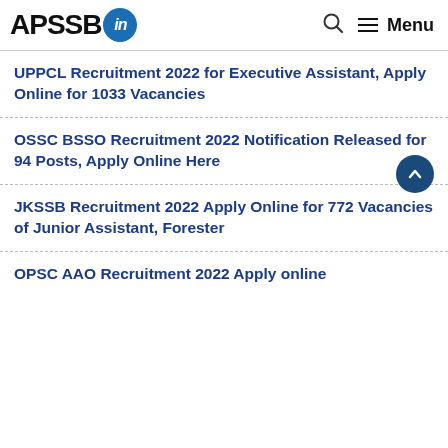APSSB.IN — Search Menu
UPPCL Recruitment 2022 for Executive Assistant, Apply Online for 1033 Vacancies
OSSC BSSO Recruitment 2022 Notification Released for 94 Posts, Apply Online Here
JKSSB Recruitment 2022 Apply Online for 772 Vacancies of Junior Assistant, Forester
OPSC AAO Recruitment 2022 Apply online